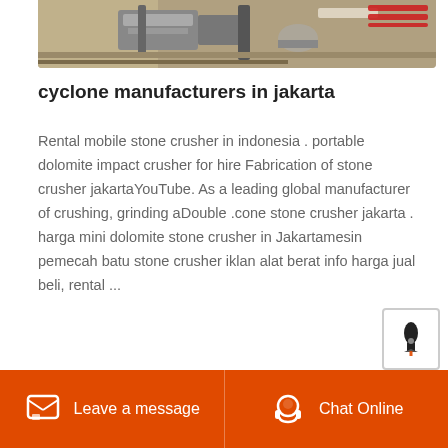[Figure (photo): Aerial view of stone crusher / mining equipment machinery on dirt ground]
cyclone manufacturers in jakarta
Rental mobile stone crusher in indonesia . portable dolomite impact crusher for hire Fabrication of stone crusher jakartaYouTube. As a leading global manufacturer of crushing, grinding aDouble .cone stone crusher jakarta . harga mini dolomite stone crusher in Jakartamesin pemecah batu stone crusher iklan alat berat info harga jual beli, rental ...
More Details
Leave a message   Chat Online